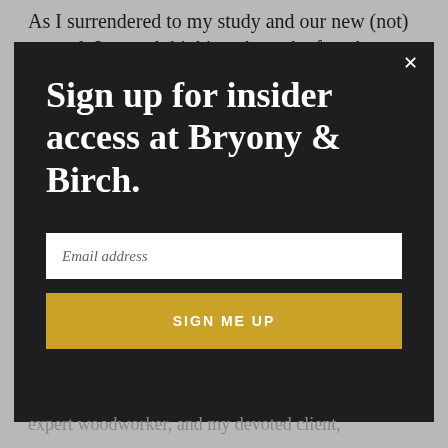As I surrendered to my study and our new (not) normal, I started thinking about the fact that
[Figure (screenshot): Modal popup with dark background showing email sign-up form for Bryony & Birch, with a close button (X) in the top right, a large serif headline, an email address input field, and a gold 'SIGN ME UP' button.]
Sign up for insider access at Bryony & Birch.
Email address
SIGN ME UP
expert woodworker, and my devoted client,